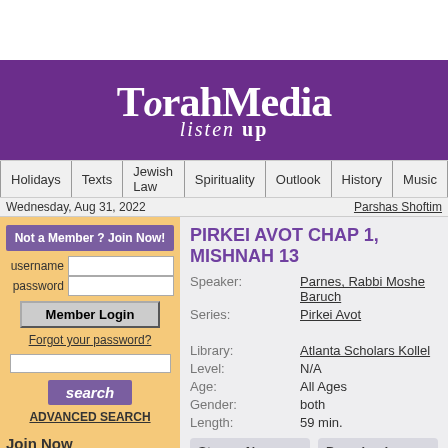[Figure (logo): TorahMedia listen up logo on purple banner]
Holidays | Texts | Jewish Law | Spirituality | Outlook | History | Music
Wednesday, Aug 31, 2022
Parshas Shoftim
Not a Member ? Join Now!
username
password
Member Login
Forgot your password?
search
ADVANCED SEARCH
Join Now
Free Lectures
PIRKEI AVOT CHAP 1, MISHNAH 13
Speaker: Parnes, Rabbi Moshe Baruch
Series: Pirkei Avot
Library: Atlanta Scholars Kollel
Level: N/A
Age: All Ages
Gender: both
Length: 59 min.
Stream Now
Low Bandwidth
File: mp3
6.73 MB
Download
Low Bandwidth
File: mp3
6.73 MB